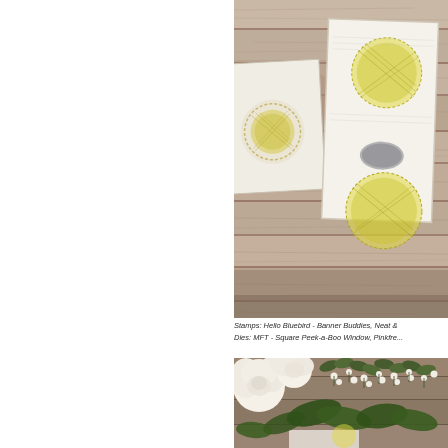[Figure (photo): Craft cards displayed on a rustic wooden plank background. Cards feature circular floral/botanical stamped designs in yellow and gray on white card stock, propped against the weathered wood surface.]
Stamps: Hello Bluebird - Banner Buddies, Neat & Dies: MFT - Square Peek-a-Boo Window, Pinkfre...
[Figure (photo): Close-up of white flowers, green leaves and small white buds arranged on a wooden surface, with a stamped card partially visible beneath.]